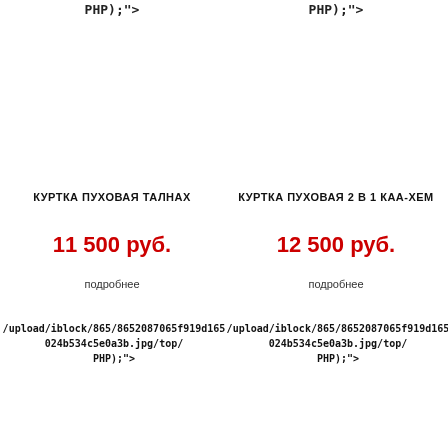PHP);'>
PHP);'>
КУРТКА ПУХОВАЯ ТАЛНАХ
КУРТКА ПУХОВАЯ 2 В 1 КАА-ХЕМ
11 500 руб.
12 500 руб.
подробнее
подробнее
/upload/iblock/865/8652087065f919d165024b534c5e0a3b.jpg/top/PHP);'>
/upload/iblock/865/8652087065f919d165024b534c5e0a3b.jpg/top/PHP);'>